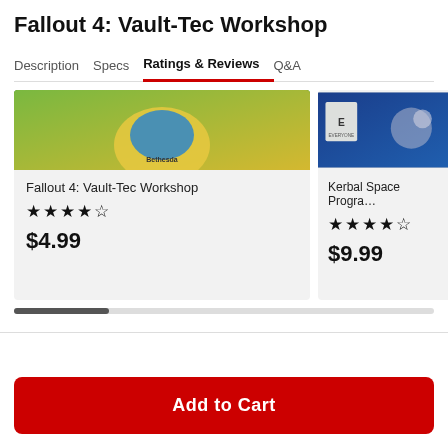Fallout 4: Vault-Tec Workshop
Description | Specs | Ratings & Reviews | Q&A
[Figure (screenshot): Product card for Fallout 4: Vault-Tec Workshop showing game art, 4-star rating, and $4.99 price]
[Figure (screenshot): Product card for Kerbal Space Program showing game art, 4-star rating, and $9.99 price]
Add to Cart